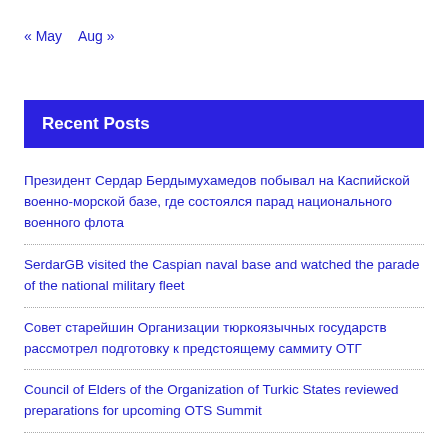« May   Aug »
Recent Posts
Президент Сердар Бердымухамедов побывал на Каспийской военно-морской базе, где состоялся парад национального военного флота
SerdarGB visited the Caspian naval base and watched the parade of the national military fleet
Совет старейшин Организации тюркоязычных государств рассмотрел подготовку к предстоящему саммиту ОТГ
Council of Elders of the Organization of Turkic States reviewed preparations for upcoming OTS Summit